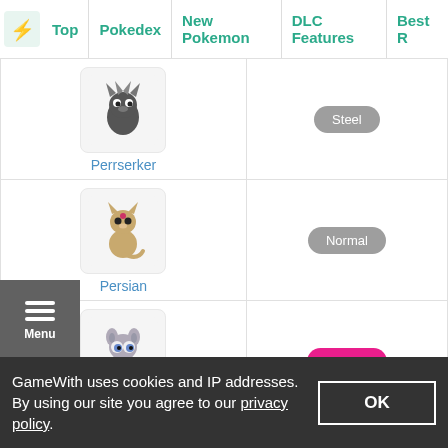Top | Pokedex | New Pokemon | DLC Features | Best R
| Pokemon | Type |
| --- | --- |
| Perrserker | Steel |
| Persian | Normal |
| Espurr | Psychic |
| Meowstic | Psychic |
GameWith uses cookies and IP addresses. By using our site you agree to our privacy policy.